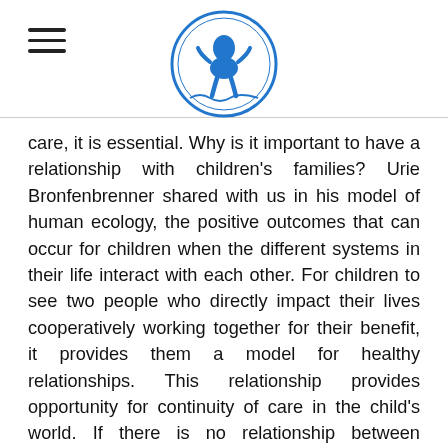[Logo: San Francisco Child & Family Center] [Hamburger menu icon]
care, it is essential. Why is it important to have a relationship with children's families? Urie Bronfenbrenner shared with us in his model of human ecology, the positive outcomes that can occur for children when the different systems in their life interact with each other. For children to see two people who directly impact their lives cooperatively working together for their benefit, it provides them a model for healthy relationships. This relationship provides opportunity for continuity of care in the child's world. If there is no relationship between teachers and parents we miss out on the vital opportunity to learn from one another. For the teachers to learn about the parents – the experts of the child; and the Parents may also miss the opportunity to learn from the teachers – and to seek support when they need it. At the end of the day, parents and teachers working in partnership means